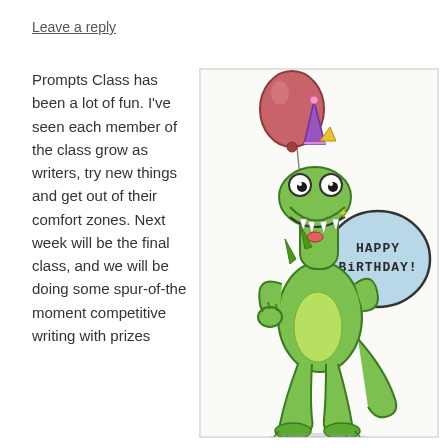Leave a reply
Prompts Class has been a lot of fun. I've seen each member of the class grow as writers, try new things and get out of their comfort zones. Next week will be the final class, and we will be doing some spur-of-the moment competitive writing with prizes
[Figure (illustration): A cartoon illustration of a green dinosaur/monster wearing a purple party hat and holding a red balloon, with a speech bubble saying 'HAPPY BIRTHDAY!']